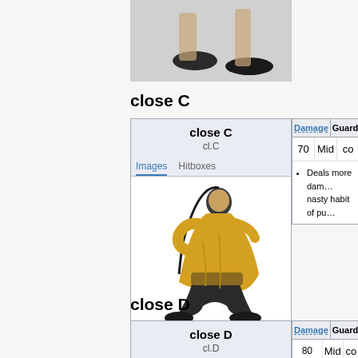[Figure (photo): Partial view of character legs/feet from previous section, cropped at top of page]
close C
| close C | cl.C | Images | Hitboxes |
| --- | --- | --- | --- |
| Damage | Guard | C... |
| Damage | Guard | C |
| --- | --- | --- |
| 70 | Mid | co |
[Figure (photo): Character in yellow robe performing a close C attack, crouching/spinning pose]
Deals more dam... nasty habit of pu...
close D
| close D | cl.D | Images | Hitboxes |
| --- | --- | --- | --- |
| Damage | Guard | C |
| --- | --- | --- |
| 80
(40*2) | Mid | co |